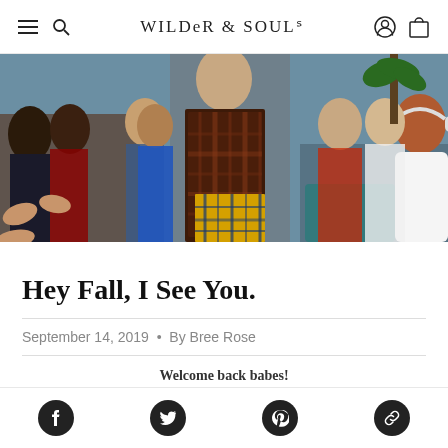WILDER & SOUL navigation bar with hamburger menu, search, account and cart icons
[Figure (photo): Clueless-style group scene with people in 90s outfits including plaid coat and plaid skirt; outdoor school setting]
Hey Fall, I See You.
September 14, 2019 • By Bree Rose
Welcome back babes!
Social share icons: Facebook, Twitter, Pinterest, Link